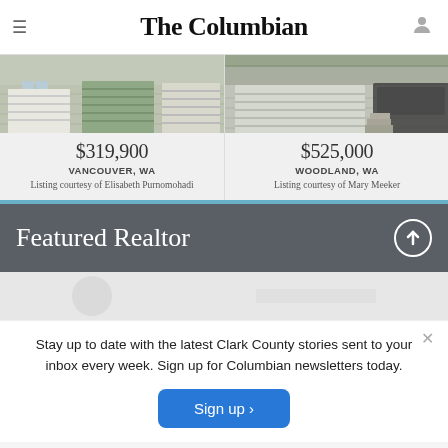The Columbian
[Figure (photo): Photo of house garage exterior - left listing, green/beige siding]
$319,900
VANCOUVER, WA
Listing courtesy of Elisabeth Purnomohadi
[Figure (photo): Photo of house garage exterior - right listing, white/beige siding]
$525,000
WOODLAND, WA
Listing courtesy of Mary Meeker
Featured Realtor
Stay up to date with the latest Clark County stories sent to your inbox every week. Sign up for Columbian newsletters today.